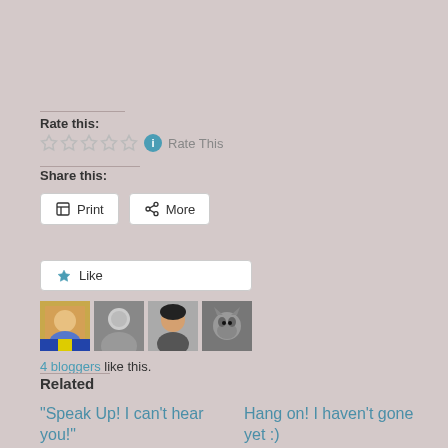Rate this:
Rate This
Share this:
Print
More
Like
4 bloggers like this.
Related
“Speak Up! I can’t hear you!”
21/10/2014
In "Ramblings"
Hang on! I haven’t gone yet :)
24/05/2017
In "Ramblings"